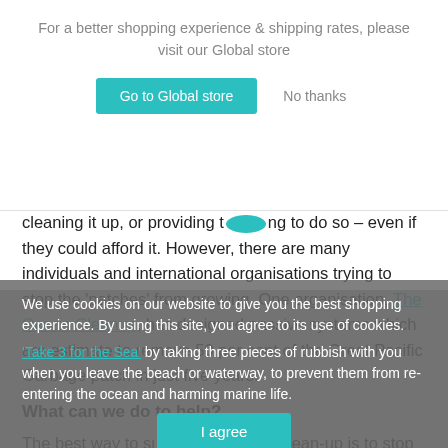For a better shopping experience & shipping rates, please visit our Global store
Go to Global store | No thanks
cleaning it up, or providing the funding to do so – even if they could afford it. However, there are many individuals and international organisations trying to stop the 'patches' from growing. One organisation, The Ocean Cleanup, has designed passive systems which are estimate to remove 50 per cent of the Great Pacific Garbage patch in just five years.
What can we do to help?
The best way to support the ocean clean-up is to stop buying single-use plastic. When you're at the beach, you can also join the 'Take 3 for the Sea' by taking three pieces of rubbish with you when you leave the beach or waterway, to prevent them from re-entering the ocean and harming marine life.
We use cookies on our website to give you the best shopping experience. By using this site, you agree to its use of cookies.
I agree